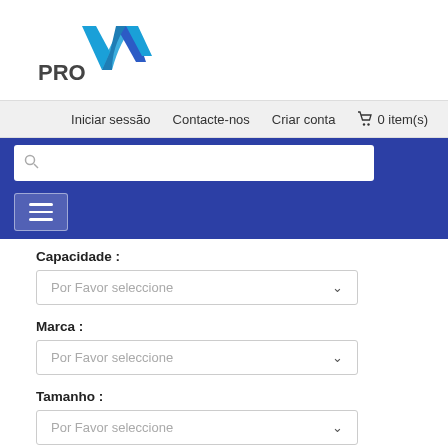[Figure (logo): ProAV logo with blue angular chevron/arrow shape and bold PRO text]
Iniciar sessão   Contacte-nos   Criar conta   🛒 0 item(s)
Capacidade :
Por Favor seleccione
Marca :
Por Favor seleccione
Tamanho :
Por Favor seleccione